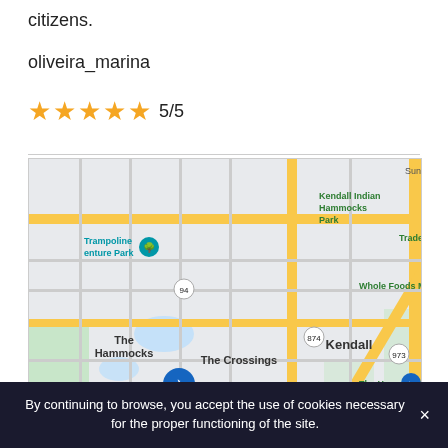citizens.
oliveira_marina
★★★★★ 5/5
[Figure (map): Google Maps screenshot showing Kendall area of Miami, Florida. Landmarks visible include Trampoline/Venture Park, Kendall Indian Hammocks Park, The Hammocks, The Crossings, Whole Foods Market, Kendall, Miami Executive Airport (KTMB), Three Lakes, The Home Depot, Richmond. Route numbers 94, 874, 825, 973 visible.]
By continuing to browse, you accept the use of cookies necessary for the proper functioning of the site.